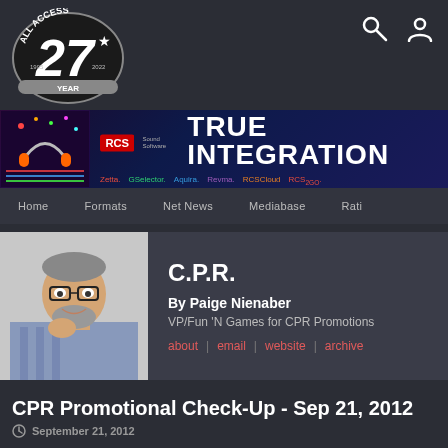[Figure (logo): All Access 27 Year logo (1995-2022)]
[Figure (illustration): RCS Sound Software TRUE INTEGRATION banner with colorful DJ graphic on left, products listed: Zetta, GSelector, Aquira, Revma, RCSCloud, RCS2GO]
Home | Formats | Net News | Mediabase | Rati...
[Figure (photo): Photo of Paige Nienaber, older man with glasses, beard, smiling]
C.P.R.
By Paige Nienaber
VP/Fun 'N Games for CPR Promotions
about | email | website | archive
CPR Promotional Check-Up - Sep 21, 2012
September 21, 2012